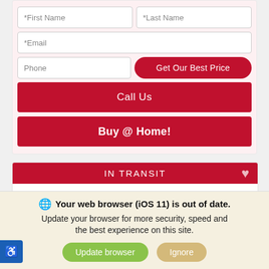[Figure (screenshot): Web form with First Name, Last Name, Email, Phone fields and 'Get Our Best Price' button, plus 'Call Us' and 'Buy @ Home!' buttons on a pink background card]
*First Name
*Last Name
*Email
Phone
Get Our Best Price
Call Us
Buy @ Home!
IN TRANSIT
[Figure (logo): Nissan logo circle with M'LADY NISSAN dealership text]
Your web browser (iOS 11) is out of date. Update your browser for more security, speed and the best experience on this site.
Update browser
Ignore